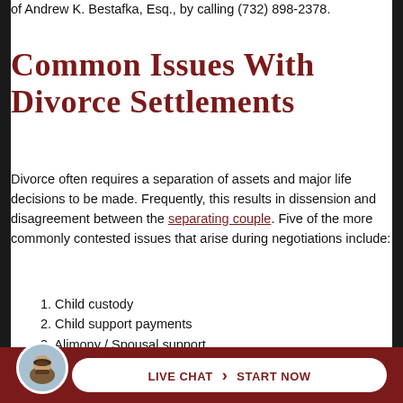of Andrew K. Bestafka, Esq., by calling (732) 898-2378.
Common Issues with Divorce Settlements
Divorce often requires a separation of assets and major life decisions to be made. Frequently, this results in dissension and disagreement between the separating couple. Five of the more commonly contested issues that arise during negotiations include:
1. Child custody
2. Child support payments
3. Alimony / Spousal support
4. Division of property
5. Division of assets
These are only some of the potentially contestable
LIVE CHAT  START NOW